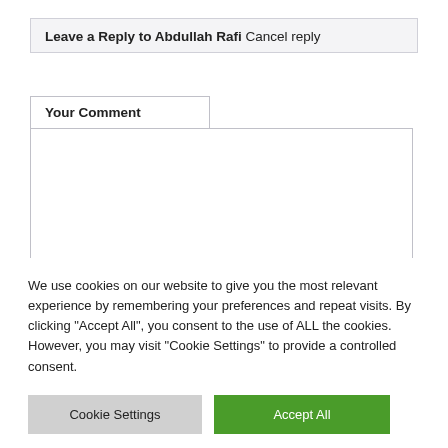Leave a Reply to Abdullah Rafi Cancel reply
Your Comment
We use cookies on our website to give you the most relevant experience by remembering your preferences and repeat visits. By clicking "Accept All", you consent to the use of ALL the cookies. However, you may visit "Cookie Settings" to provide a controlled consent.
Cookie Settings
Accept All